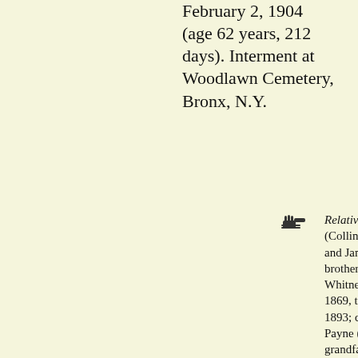February 2, 1904 (age 62 years, 212 days). Interment at Woodlawn Cemetery, Bronx, N.Y.
Relatives: Son of Laurinda (Collins) Whitney (1810-1880) and James Scollay Whitney; brother of Henry Melville Whitney; married, October 20, 1869, to Flora Payne (1842-1893; daughter of Henry B. Payne (1810-1896)); grandfather of Cornelius Vanderbilt Whitney and John Hay Whitney; third cousin once removed of Thomas Mackie Burgess; third cousin thrice removed of Bartlett Nye, Paul Fearing,